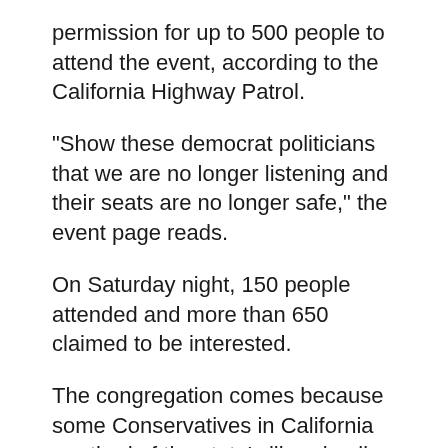permission for up to 500 people to attend the event, according to the California Highway Patrol.
"Show these democrat politicians that we are no longer listening and their seats are no longer safe," the event page reads.
On Saturday night, 150 people attended and more than 650 claimed to be interested.
The congregation comes because some Conservatives in California are tired of the state's liberal policy. According to event organizers, Democrats do not "state the state for normal citizens".
But the Congregants are in progress to the